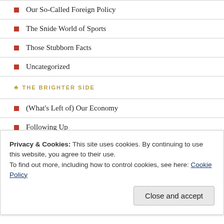Our So-Called Foreign Policy
The Snide World of Sports
Those Stubborn Facts
Uncategorized
THE BRIGHTER SIDE
(What's Left of) Our Economy
Following Up
Glad I Didn't Say That!
Golden Oldies
Guest Posts
Housekeeping
Privacy & Cookies: This site uses cookies. By continuing to use this website, you agree to their use. To find out more, including how to control cookies, see here: Cookie Policy